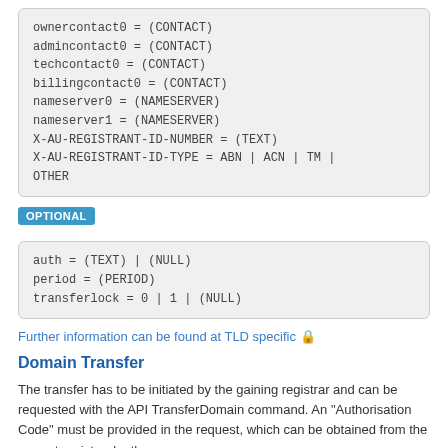[Figure (screenshot): Code block showing required domain registration fields: ownercontact0, admincontact0, techcontact0, billingcontact0, nameserver0, nameserver1, X-AU-REGISTRANT-ID-NUMBER, X-AU-REGISTRANT-ID-TYPE]
OPTIONAL
[Figure (screenshot): Code block showing optional domain registration fields: auth, period, transferlock]
Further information can be found at TLD specific 🔒
Domain Transfer
The transfer has to be initiated by the gaining registrar and can be requested with the API TransferDomain command. An "Authorisation Code" must be provided in the request, which can be obtained from the current registrar by the